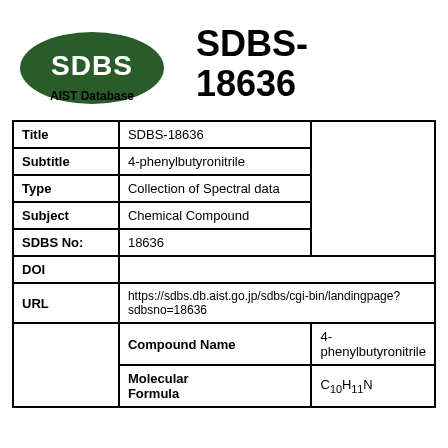[Figure (logo): SDBS AIST Database green oval logo with white text]
SDBS-18636
| Field | Value |  |
| --- | --- | --- |
| Title | SDBS-18636 |  |
| Subtitle | 4-phenylbutyronitrile |  |
| Type | Collection of Spectral data |  |
| Subject | Chemical Compound |  |
| SDBS No: | 18636 |  |
| DOI |  |  |
| URL | https://sdbs.db.aist.go.jp/sdbs/cgi-bin/landingpage?sdbsno=18636 |  |
|  | Compound Name | 4-phenylbutyronitrile |
|  | Molecular Formula | C10H11N |